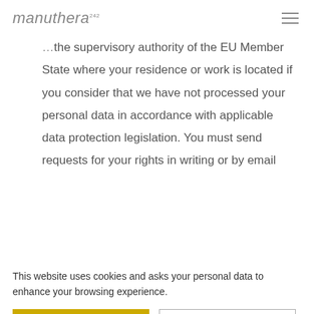manuthera 242
the supervisory authority of the EU Member State where your residence or work is located if you consider that we have not processed your personal data in accordance with applicable data protection legislation. You must send requests for your rights in writing or by email
This website uses cookies and asks your personal data to enhance your browsing experience.
OK, I AGREE!
PRIVACY POLICY
Finland